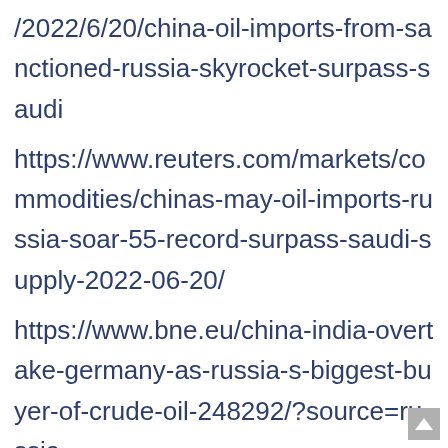/2022/6/20/china-oil-imports-from-sanctioned-russia-skyrocket-surpass-saudi
https://www.reuters.com/markets/commodities/chinas-may-oil-imports-russia-soar-55-record-surpass-saudi-supply-2022-06-20/
https://www.bne.eu/china-india-overtake-germany-as-russia-s-biggest-buyer-of-crude-oil-248292/?source=russia